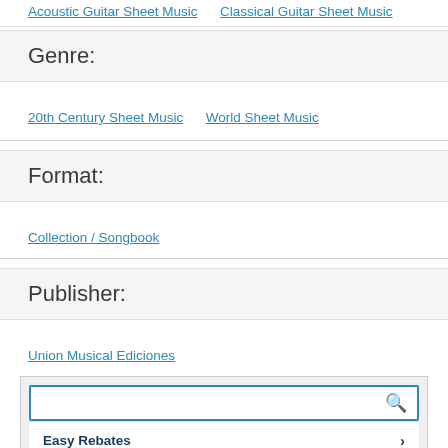Acoustic Guitar Sheet Music   Classical Guitar Sheet Music
Genre:
20th Century Sheet Music   World Sheet Music
Format:
Collection / Songbook
Publisher:
Union Musical Ediciones
[Figure (screenshot): Search widget with a search input bar (with magnifying glass icon), followed by two menu items: 'Easy Rebates' and 'Have a Website?' each with a right-arrow chevron.]